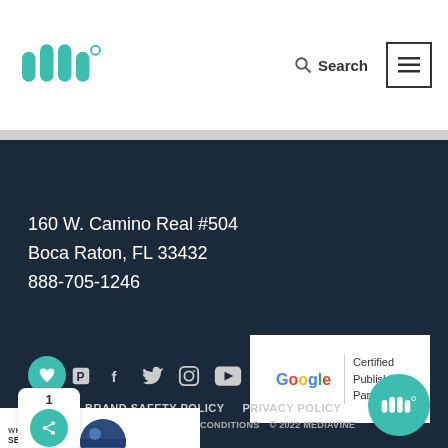[Figure (logo): Mediavine logo - teal W-like shapes with a degree symbol]
Search
[Figure (illustration): Hamburger menu icon (three horizontal lines)]
Submit
160 W. Camino Real #504
Boca Raton, FL 33432
888-705-1246
[Figure (illustration): Social media icons: Pinterest, Facebook, Twitter, Instagram, YouTube]
[Figure (logo): Google Certified Publishing Partner badge]
BRAND SAFETY POLICY   PRIVACY POLICY
© 2022 MEDIAVINE
[Figure (illustration): What's Next widget showing 'SEO Like A Google Pro...']
[Figure (logo): Teal Mediavine circular logo bottom right]